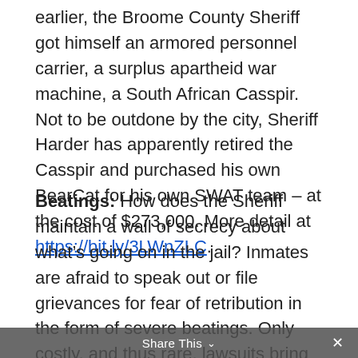earlier, the Broome County Sheriff got himself an armored personnel carrier, a surplus apartheid war machine, a South African Casspir. Not to be outdone by the city, Sheriff Harder has apparently retired the Casspir and purchased his own BearCat for his own SWAT team – at the cost of $273,000. More detail at https://bit.ly/3LWnZLC.
Beatings: How does the Sheriff maintain a wall of secrecy about what's going on in the jail? Inmates are afraid to speak out or file grievances for fear of retribution in the form of severe beatings. Only costly, and thus rare, lawsuits bring cases of abuse to light, as shown by the county losing its own record of
Share This ∨  ×